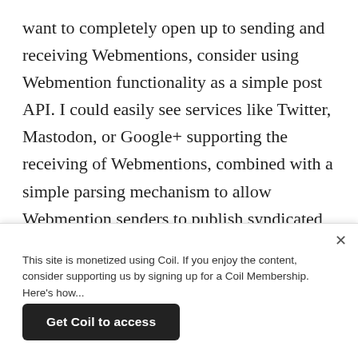want to completely open up to sending and receiving Webmentions, consider using Webmention functionality as a simple post API. I could easily see services like Twitter, Mastodon, or Google+ supporting the receiving of Webmentions, combined with a simple parsing mechanism to allow Webmention senders to publish syndicated content on their platform. There are already several services like IndieNews, with Hacker News-like functionality, that allow posting to them via Webmention.
If you have problems or questions, I'd recommend joining
This site is monetized using Coil. If you enjoy the content, consider supporting us by signing up for a Coil Membership. Here's how...
Get Coil to access